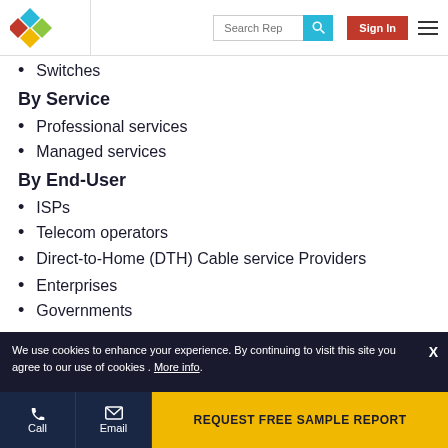Search Rep | Sign In
Switches
By Service
Professional services
Managed services
By End-User
ISPs
Telecom operators
Direct-to-Home (DTH) Cable service Providers
Enterprises
Governments
We use cookies to enhance your experience. By continuing to visit this site you agree to our use of cookies . More info.
Call | Email | REQUEST FREE SAMPLE REPORT